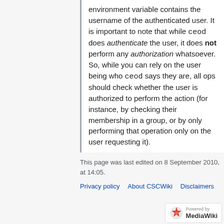environment variable contains the username of the authenticated user. It is important to note that while ceod does authenticate the user, it does not perform any authorization whatsoever. So, while you can rely on the user being who ceod says they are, all ops should check whether the user is authorized to perform the action (for instance, by checking their membership in a group, or by only performing that operation only on the user requesting it).
This page was last edited on 8 September 2010, at 14:05.
Privacy policy   About CSCWiki   Disclaimers